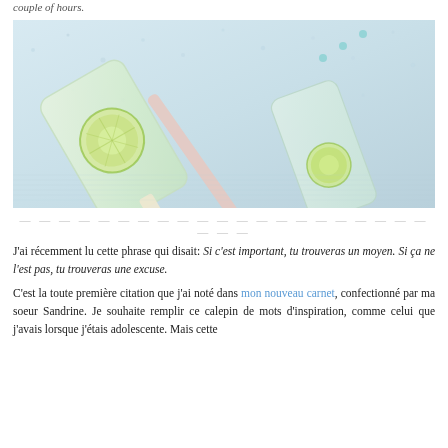couple of hours.
[Figure (photo): Close-up photo of lime popsicles on a light blue background, with a decorative straw. The popsicles are translucent white/green with lime slices visible inside.]
— — — — — — — — — — — — — — — — — — — — — — — —
J'ai récemment lu cette phrase qui disait: Si c'est important, tu trouveras un moyen. Si ça ne l'est pas, tu trouveras une excuse.
C'est la toute première citation que j'ai noté dans mon nouveau carnet, confectionné par ma soeur Sandrine. Je souhaite remplir ce calepin de mots d'inspiration, comme celui que j'avais lorsque j'étais adolescente. Mais cette